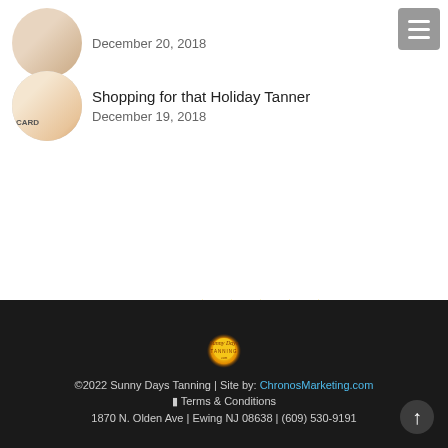December 20, 2018
Shopping for that Holiday Tanner
December 19, 2018
[Figure (infographic): Five gold stars above a bordered box reading 'review us on... Google']
©2022 Sunny Days Tanning | Site by: ChronosMarketing.com | Terms & Conditions | 1870 N. Olden Ave | Ewing NJ 08638 | (609) 530-9191